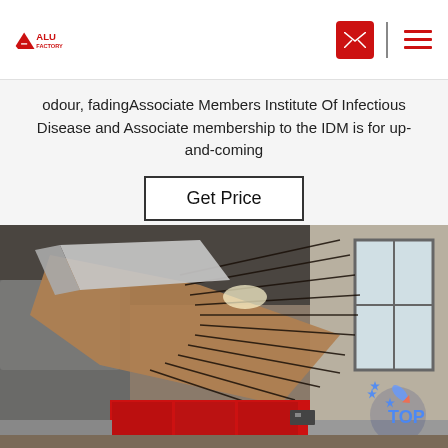ALU FACTORY
odour, fadingAssociate Members Institute Of Infectious Disease and Associate membership to the IDM is for up-and-coming
Get Price
[Figure (photo): Industrial machinery photograph showing what appears to be an aluminum extrusion or manufacturing machine inside a factory/warehouse, with metal ductwork, wire racks, and red equipment visible. A 'TOP' badge overlay is visible in the bottom right.]